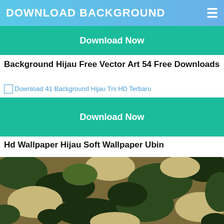DOWNLOAD BACKGROUND
Download Now
Background Hijau Free Vector Art 54 Free Downloads
[Figure (screenshot): Broken image placeholder with link text: Download 41 Background Hijau Tni HD Terbaru]
Download Now
Hd Wallpaper Hijau Soft Wallpaper Ubin
[Figure (photo): Camouflage pattern with green, dark brown/black, tan and olive patches in military woodland camo style]